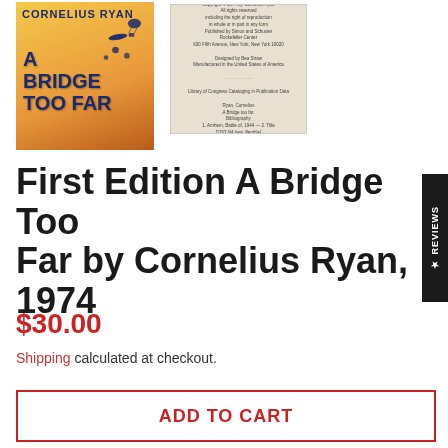[Figure (photo): Book cover of 'A Bridge Too Far' by Cornelius Ryan with orange/yellow gradient background and blue text, showing aircraft silhouettes]
[Figure (photo): Copyright page of 'A Bridge Too Far' showing publisher information, Library of Congress data, printed on yellowed/cream paper]
First Edition A Bridge Too Far by Cornelius Ryan, 1974
$30.00
Shipping calculated at checkout.
ADD TO CART